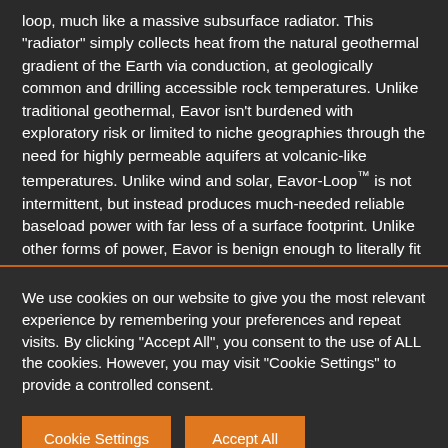loop, much like a massive subsurface radiator. This "radiator" simply collects heat from the natural geothermal gradient of the Earth via conduction, at geologically common and drilling accessible rock temperatures. Unlike traditional geothermal, Eavor isn't burdened with exploratory risk or limited to niche geographies through the need for highly permeable aquifers at volcanic-like temperatures. Unlike wind and solar, Eavor-Loop™ is not intermittent, but instead produces much-needed reliable baseload power with far less of a surface footprint. Unlike other forms of power, Eavor is benign enough to literally fit in someone's backyard. Eavor is the solution the world has been waiting for.
We use cookies on our website to give you the most relevant experience by remembering your preferences and repeat visits. By clicking "Accept All", you consent to the use of ALL the cookies. However, you may visit "Cookie Settings" to provide a controlled consent.
Cookie Settings
Accept All